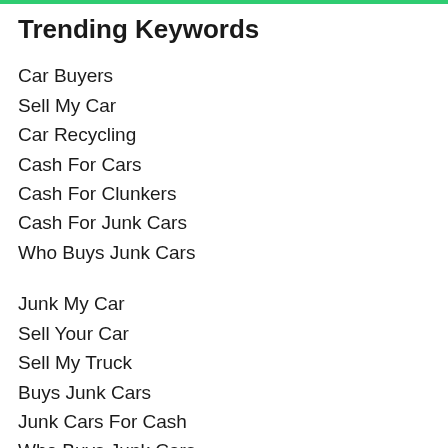Trending Keywords
Car Buyers
Sell My Car
Car Recycling
Cash For Cars
Cash For Clunkers
Cash For Junk Cars
Who Buys Junk Cars
Junk My Car
Sell Your Car
Sell My Truck
Buys Junk Cars
Junk Cars For Cash
Who Buys Junk Cars
Who Buys Wrecked Cars